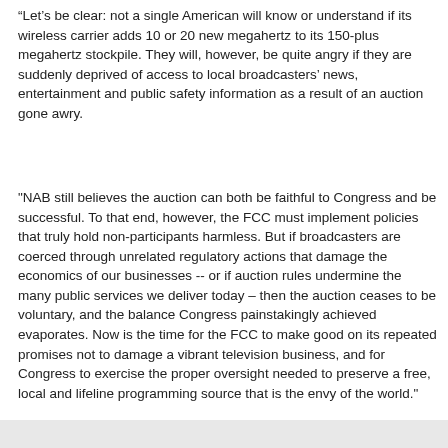“Let’s be clear: not a single American will know or understand if its wireless carrier adds 10 or 20 new megahertz to its 150-plus megahertz stockpile. They will, however, be quite angry if they are suddenly deprived of access to local broadcasters’ news, entertainment and public safety information as a result of an auction gone awry.
"NAB still believes the auction can both be faithful to Congress and be successful. To that end, however, the FCC must implement policies that truly hold non-participants harmless. But if broadcasters are coerced through unrelated regulatory actions that damage the economics of our businesses -- or if auction rules undermine the many public services we deliver today – then the auction ceases to be voluntary, and the balance Congress painstakingly achieved evaporates. Now is the time for the FCC to make good on its repeated promises not to damage a vibrant television business, and for Congress to exercise the proper oversight needed to preserve a free, local and lifeline programming source that is the envy of the world."